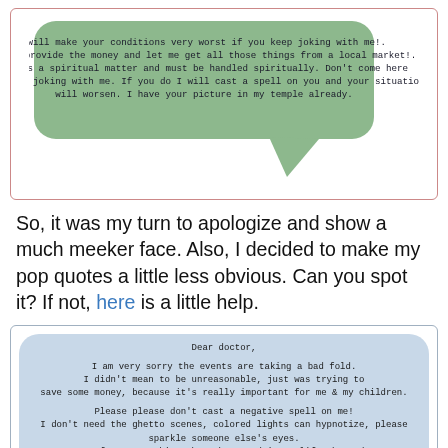[Figure (other): Green speech bubble (rounded rectangle with tail pointing down-right) containing text: 'I will make your conditions very worst if you keep joking with me!. I said provide the money and let me get all those things from a local market!. This is a spiritual matter and must be handled spiritually. Don't come here and start joking with me. If you do I will cast a spell on you and your situation will worsen. I have your picture in my temple already.']
So, it was my turn to apologize and show a much meeker face. Also, I decided to make my pop quotes a little less obvious. Can you spot it? If not, here is a little help.
[Figure (other): Blue speech bubble (rounded rectangle) containing text: 'Dear doctor, I am very sorry the events are taking a bad fold. I didn't mean to be unreasonable, just was trying to save some money, because it's really important for me & my children. Please please don't cast a negative spell on me! I don't need the ghetto scenes, colored lights can hypnotize, please sparkle someone else's eyes. More unfortunate things have happened in my life these days. I am convinced I need help.']